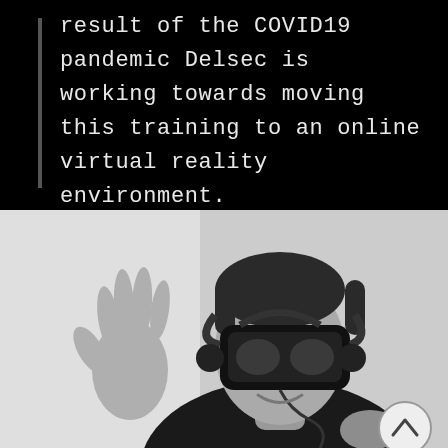result of the COVID19 pandemic Delsec is working towards moving this training to an online virtual reality environment.
[Figure (photo): Black and white photograph of a man wearing a VR headset (virtual reality goggles) with one hand raised, smiling, wearing a black shirt.]